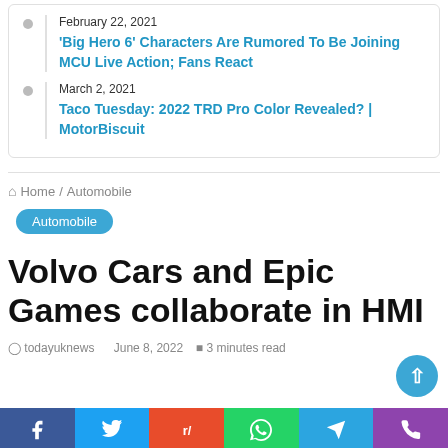February 22, 2021 — 'Big Hero 6' Characters Are Rumored To Be Joining MCU Live Action; Fans React
March 2, 2021 — Taco Tuesday: 2022 TRD Pro Color Revealed? | MotorBiscuit
Home / Automobile
Automobile
Volvo Cars and Epic Games collaborate in HMI
todayuknews   June 8, 2022   3 minutes read